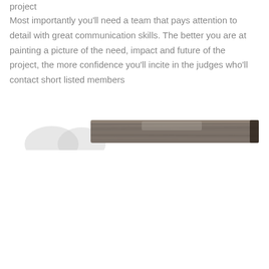project
Most importantly you'll need a team that pays attention to detail with great communication skills. The better you are at painting a picture of the need, impact and future of the project, the more confidence you'll incite in the judges who'll contact short listed members
[Figure (photo): Partial view of what appears to be a wooden or metal surface/object, photographed at an angle, shown as a cropped horizontal strip]